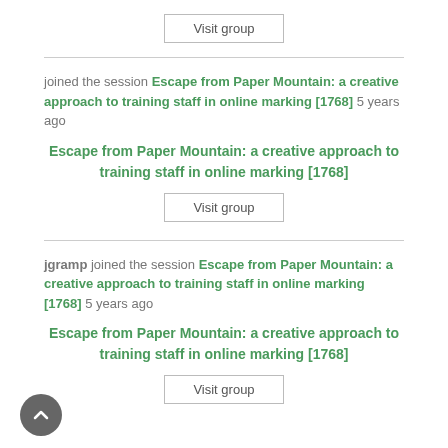Visit group
joined the session Escape from Paper Mountain: a creative approach to training staff in online marking [1768] 5 years ago
Escape from Paper Mountain: a creative approach to training staff in online marking [1768]
Visit group
jgramp joined the session Escape from Paper Mountain: a creative approach to training staff in online marking [1768] 5 years ago
Escape from Paper Mountain: a creative approach to training staff in online marking [1768]
Visit group